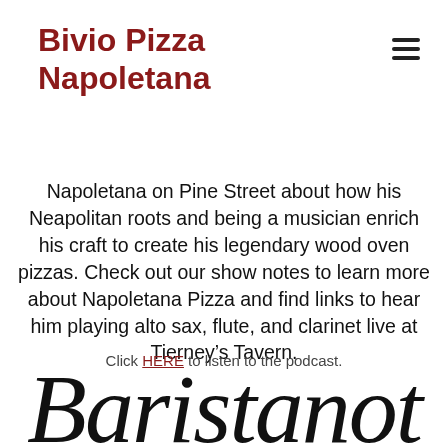Bivio Pizza Napoletana
Napoletana on Pine Street about how his Neapolitan roots and being a musician enrich his craft to create his legendary wood oven pizzas. Check out our show notes to learn more about Napoletana Pizza and find links to hear him playing alto sax, flute, and clarinet live at Tierney's Tavern.
Click HERE to listen to the podcast.
[Figure (other): Partial decorative large italic serif text reading 'Baristanot' at the bottom of the page, cropped]